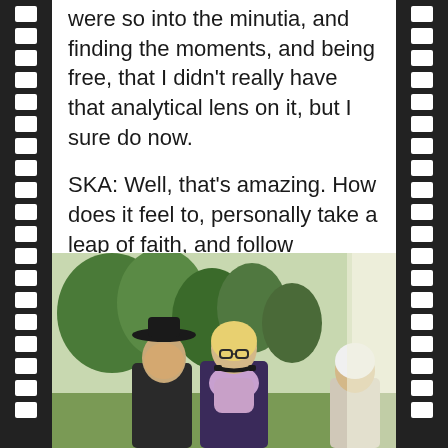were so into the minutia, and finding the moments, and being free, that I didn't really have that analytical lens on it, but I sure do now.
SKA: Well, that's amazing. How does it feel to, personally take a leap of faith, and follow Sharon's advice of casting her in the daughter role instead of the mother?
[Figure (photo): Three women outdoors in a green park setting. Center woman has blonde hair, glasses, and headphones around her neck wearing a dark purple top with a light scarf. Left woman wears a black hat. Right woman has white/silver hair.]